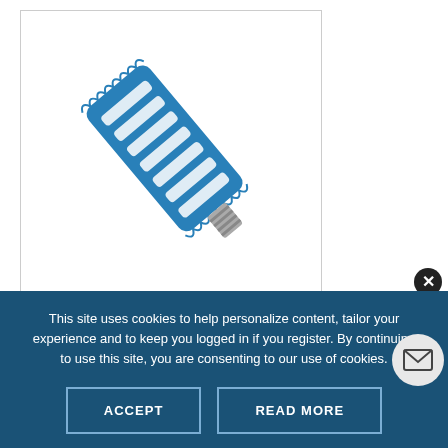[Figure (photo): Blue anodized aluminum finned/slotted component (resembling a heat sink or strainer insert) oriented diagonally with a metal threaded fitting at the lower end, on white background]
This site uses cookies to help personalize content, tailor your experience and to keep you logged in if you register. By continuing to use this site, you are consenting to our use of cookies.
ACCEPT
READ MORE